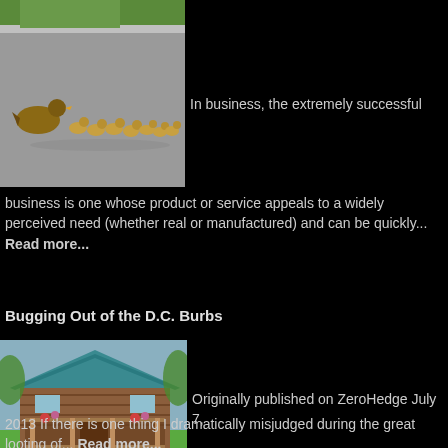[Figure (photo): A mother duck leading a line of ducklings across a paved path with green grass in the background.]
In business, the extremely successful
business is one whose product or service appeals to a widely perceived need (whether real or manufactured) and can be quickly... Read more...
Bugging Out of the D.C. Burbs
[Figure (photo): A wooden cabin with a teal/blue metal roof, porch with plants and flowers, surrounded by green lawn.]
Originally published on ZeroHedge July 7,
2013 If there is one thing I dramatically misjudged during the great looting of... Read more...